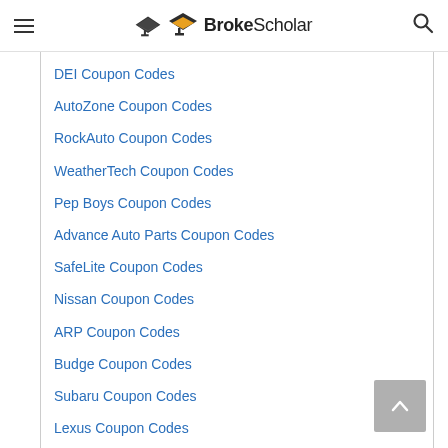BrokeScholar
DEI Coupon Codes
AutoZone Coupon Codes
RockAuto Coupon Codes
WeatherTech Coupon Codes
Pep Boys Coupon Codes
Advance Auto Parts Coupon Codes
SafeLite Coupon Codes
Nissan Coupon Codes
ARP Coupon Codes
Budge Coupon Codes
Subaru Coupon Codes
Lexus Coupon Codes
Euro Car Parts Coupon Codes
Suburban Coupon Codes